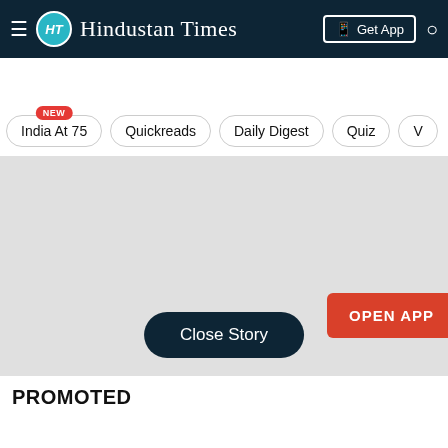HT Hindustan Times — Get App
Home  Latest  India  World  Cities  Entertainment
India At 75 (NEW)
Quickreads
Daily Digest
Quiz
V...
[Figure (screenshot): Gray rectangular area representing a story image or advertisement with an OPEN APP button on the right and a Close Story button at the bottom center.]
PROMOTED